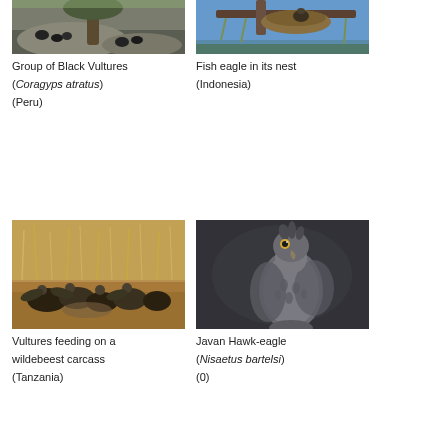[Figure (photo): Group of Black Vultures perched on a rocky cliff with vegetation (Peru)]
Group of Black Vultures (Coragyps atratus) (Peru)
[Figure (photo): Fish eagle in its nest in a tree with blue sky background (Indonesia)]
Fish eagle in its nest (Indonesia)
[Figure (photo): Vultures feeding on a wildebeest carcass in a dry grassland (Tanzania)]
Vultures feeding on a wildebeest carcass (Tanzania)
[Figure (photo): Javan Hawk-eagle (Nisaetus bartelsi) perched, dark background]
Javan Hawk-eagle (Nisaetus bartelsi) (0)